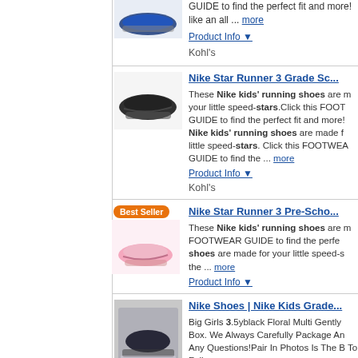[Figure (photo): Blue Nike shoe product image (partially visible, top of page)]
GUIDE to find the perfect fit and more! like an all ... more
Product Info ▼
Kohl's
Nike Star Runner 3 Grade Sc...
[Figure (photo): Black Nike Star Runner 3 running shoe product image]
These Nike kids' running shoes are m your little speed-stars.Click this FOOT GUIDE to find the perfect fit and more! Nike kids' running shoes are made f little speed-stars. Click this FOOTWEA GUIDE to find the ... more
Product Info ▼
Kohl's
Nike Star Runner 3 Pre-Scho...
[Figure (photo): Pink Nike Star Runner 3 Pre-School running shoe with Best Seller badge]
These Nike kids' running shoes are m FOOTWEAR GUIDE to find the perfe shoes are made for your little speed-s the ... more
Product Info ▼
Nike Shoes | Nike Kids Grade...
[Figure (photo): Nike Kids Grade school shoes with floral pattern, placed in a box]
Big Girls 3.5yblack Floral Multi Gently Box. We Always Carefully Package An Any Questions!Pair In Photos Is The B To Follow ... more